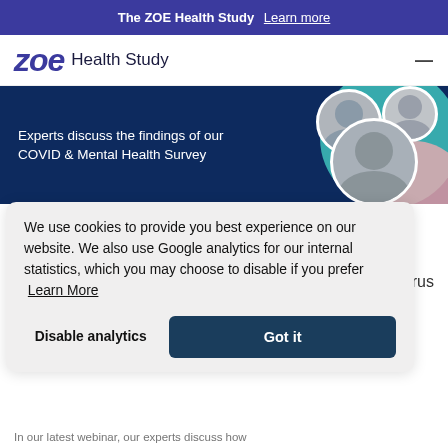The ZOE Health Study  Learn more
[Figure (logo): ZOE Health Study logo with italic bold purple 'zoe' wordmark and 'Health Study' text]
[Figure (photo): Hero banner with dark navy background showing circular avatar photos of experts and text: Experts discuss the findings of our COVID & Mental Health Survey, with teal and pink decorative arcs]
We use cookies to provide you best experience on our website. We also use Google analytics for our internal statistics, which you may choose to disable if you prefer  Learn More
Disable analytics   Got it
In our latest webinar, our experts discuss how